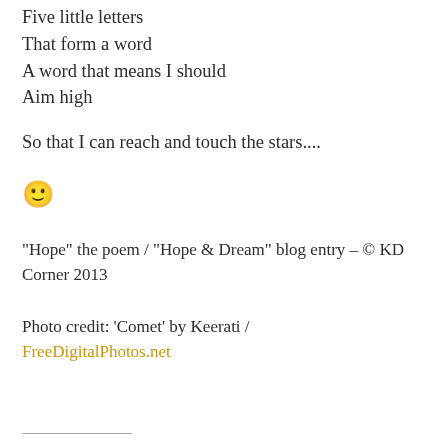Five little letters
That form a word
A word that means I should
Aim high
So that I can reach and touch the stars....
[Figure (illustration): Yellow smiley face emoji]
“Hope” the poem / “Hope & Dream” blog entry – © KD Corner 2013
Photo credit: ‘Comet’ by Keerati / FreeDigitalPhotos.net